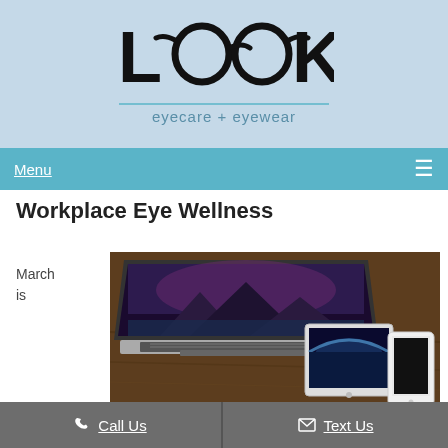LOOK eyecare + eyewear
Menu
Workplace Eye Wellness
March is
[Figure (photo): Photo of a laptop, tablet, and smartphone on a wooden desk surface]
Call Us
Text Us